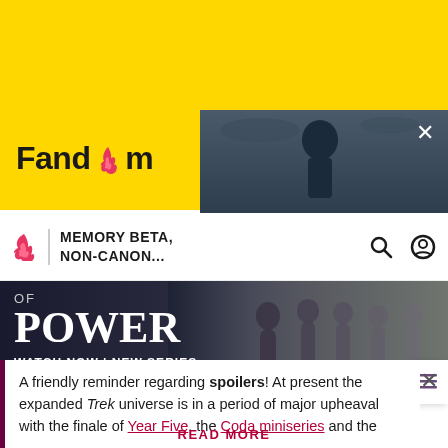[Figure (screenshot): Fandom website screenshot showing yellow banner with Fandom logo, Memory Beta non-canon navigation, a TV show banner for 'Power' with watch now text, an advertisement area, and a spoiler notice about the Star Trek expanded universe.]
Fandom
MEMORY BETA, NON-CANON...
OF POWER
WATCH NOW | NEW SERIES
ADVERTISEMENT
A friendly reminder regarding spoilers! At present the expanded Trek universe is in a period of major upheaval with the finale of Year Five, the Coda miniseries and the
READ MORE